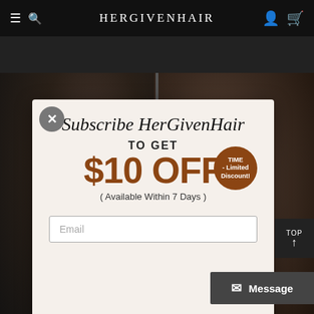HERGIVENHAIR
[Figure (photo): Background photo collage of two hair/beauty images side by side — left shows curly dark hair, right shows a person's face with dark hair]
[Figure (infographic): Popup modal: Subscribe HerGivenHair to get $10 OFF (Available Within 7 Days) with TIME-Limited Discount badge and email input field]
Subscribe HerGivenHair
TO GET
$10 OFF
TIME -Limited Discount!
( Available Within 7 Days )
Email
TOP
Message